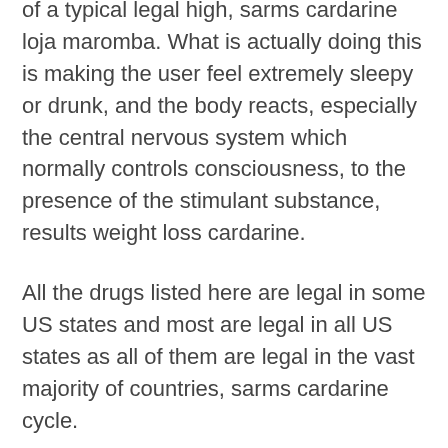of a typical legal high, sarms cardarine loja maromba. What is actually doing this is making the user feel extremely sleepy or drunk, and the body reacts, especially the central nervous system which normally controls consciousness, to the presence of the stimulant substance, results weight loss cardarine.
All the drugs listed here are legal in some US states and most are legal in all US states as all of them are legal in the vast majority of countries, sarms cardarine cycle.
The following list is meant as a general guide from what to avoid to what to use with a minimum of pain and side effects.
Some drugs can have unpleasant side effects like paranoia, paranoia of people you know or have loved, and insomnia. Please take proper precautions against any of